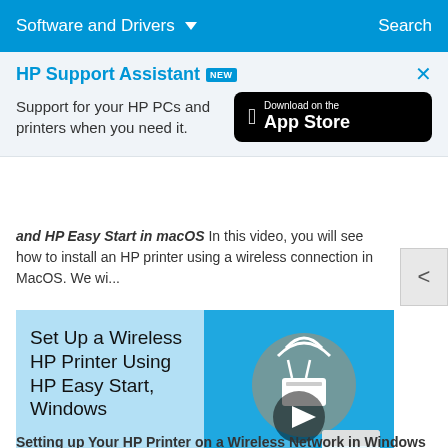Software and Drivers ∨    Search
HP Support Assistant NEW
Support for your HP PCs and printers when you need it.
and HP Easy Start in macOS In this video, you will see how to install an HP printer using a wireless connection in MacOS. We wi...
[Figure (screenshot): Video thumbnail showing 'Set Up a Wireless HP Printer Using HP Easy Start, Windows' with HP HOW TO branding on a blue background, and a play button overlay on the right half showing a router, HP Easy Start software screen, and an HP printer]
Setting up Your HP Printer on a Wireless Network in Windows 7 Using HP Easy Start Learn how to set up your HP printer on a wireless network in windows 7 using HP Easy